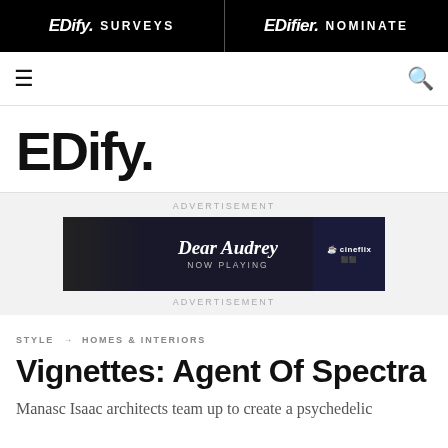EDify. SURVEYS | EDifier. NOMINATE
[Figure (logo): EDify. logo in large bold black text]
ADVERTISEMENT
[Figure (photo): Dear Audrey NOW PLAYING - Cineflix advertisement banner with dark moody film imagery]
ADVERTISEMENT
STYLE → HOMES & INTERIORS
Vignettes: Agent Of Spectra
Manasc Isaac architects team up to create a psychedelic